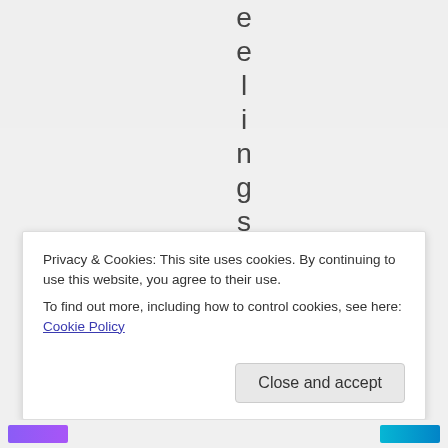[Figure (other): Vertical rotated text spelling out letters 'e e l i n g s w h i' stacked top to bottom, in dark gray on light gray background, appearing to be part of a word oriented vertically]
Privacy & Cookies: This site uses cookies. By continuing to use this website, you agree to their use.
To find out more, including how to control cookies, see here: Cookie Policy
Close and accept